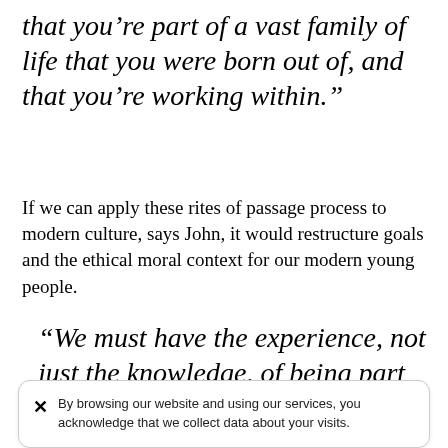that you're part of a vast family of life that you were born out of, and that you're working within.”
If we can apply these rites of passage process to modern culture, says John, it would restructure goals and the ethical moral context for our modern young people.
“We must have the experience, not just the knowledge, of being part of
By browsing our website and using our services, you acknowledge that we collect data about your visits.